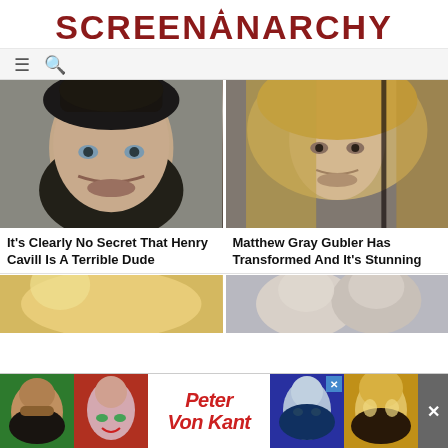SCREENANARCHY
[Figure (photo): Headshot of Henry Cavill with dark hair and moustache]
[Figure (photo): Headshot of Matthew Gray Gubler with long blonde hair]
It's Clearly No Secret That Henry Cavill Is A Terrible Dude
Matthew Gray Gubler Has Transformed And It's Stunning
[Figure (photo): Partial photo bottom left]
[Figure (photo): Partial photo bottom right]
[Figure (photo): Advertisement banner: Peter Von Kant with colorized portrait photos]